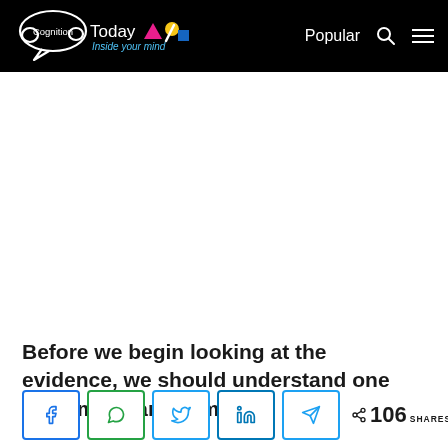Cognition Today — Inside your mind | Popular
Before we begin looking at the evidence, we should understand one very important term.
< 106 SHARES